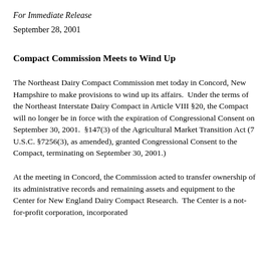For Immediate Release
September 28, 2001
Compact Commission Meets to Wind Up
The Northeast Dairy Compact Commission met today in Concord, New Hampshire to make provisions to wind up its affairs.  Under the terms of the Northeast Interstate Dairy Compact in Article VIII §20, the Compact will no longer be in force with the expiration of Congressional Consent on September 30, 2001.  §147(3) of the Agricultural Market Transition Act (7 U.S.C. §7256(3), as amended), granted Congressional Consent to the Compact, terminating on September 30, 2001.)
At the meeting in Concord, the Commission acted to transfer ownership of its administrative records and remaining assets and equipment to the Center for New England Dairy Compact Research.  The Center is a not-for-profit corporation, incorporated